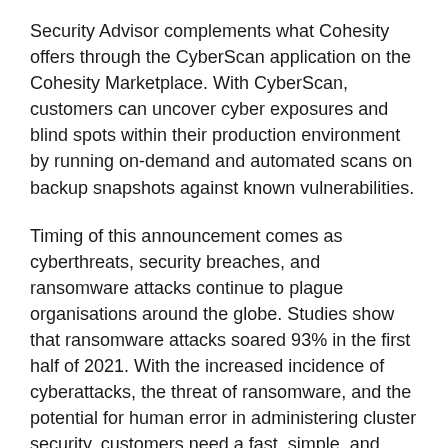Security Advisor complements what Cohesity offers through the CyberScan application on the Cohesity Marketplace. With CyberScan, customers can uncover cyber exposures and blind spots within their production environment by running on-demand and automated scans on backup snapshots against known vulnerabilities.
Timing of this announcement comes as cyberthreats, security breaches, and ransomware attacks continue to plague organisations around the globe. Studies show that ransomware attacks soared 93% in the first half of 2021. With the increased incidence of cyberattacks, the threat of ransomware, and the potential for human error in administering cluster security, customers need a fast, simple, and comprehensive way to assess their security posture and address any concerns quickly.